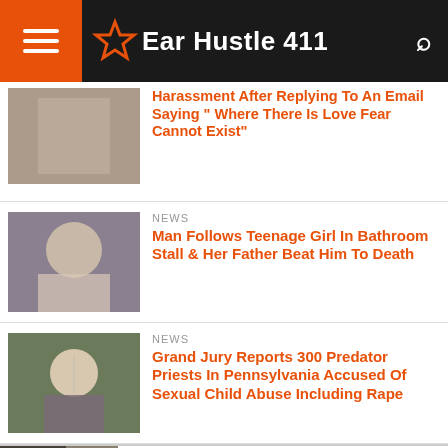Ear Hustle 411
African American Woman Arrested For Harassment After Replying To An Email Saying " Where There Is Love Fear Cannot Exist"
NEWS
Man Follows Teenage Girl In Bathroom Stall & Her Father Beat Him To Death
NEWS
Grand Jury Reports 300 Predator Priests In Pennsylvania Accused Of Sexual Child Abuse Including Rape
Frontgate SALES
20% off sitewide plus free shipping from August 19-22
frontgate.com